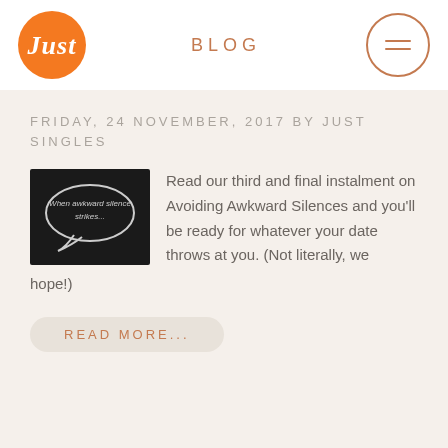[Figure (logo): Orange circle with white cursive 'Just' text - blog logo]
BLOG
[Figure (other): Circle menu icon with two horizontal lines]
FRIDAY, 24 NOVEMBER, 2017 BY JUST SINGLES
[Figure (photo): Dark chalkboard image with speech bubble outline containing text 'When awkward silence strikes...']
Read our third and final instalment on Avoiding Awkward Silences and you'll be ready for whatever your date throws at you. (Not literally, we hope!)
READ MORE...